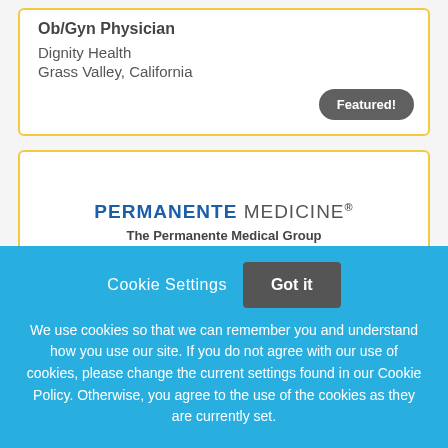Ob/Gyn Physician
Dignity Health
Grass Valley, California
Featured!
[Figure (logo): Permanente Medicine logo with text: PERMANENTE MEDICINE® / The Permanente Medical Group]
Cookie Settings  Got it
We use cookies so that we can remember you and understand how you use our site. If you do not agree with our use of cookies, please change the current settings found in our Cookie Policy. Otherwise, you agree to the use of the cookies as they are currently set.